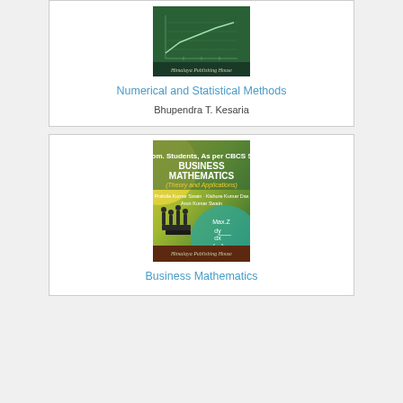[Figure (illustration): Book cover of Numerical and Statistical Methods published by Himalaya Publishing House, dark green background with graph/chart graphic]
Numerical and Statistical Methods
Bhupendra T. Kesaria
[Figure (illustration): Book cover of Business Mathematics (Theory and Applications) by Prafulla Kumar Swain, Kishore Kumar Das, Arun Kumar Swain, published by Himalaya Publishing House, yellow-green gradient with business figures and math formulas]
Business Mathematics